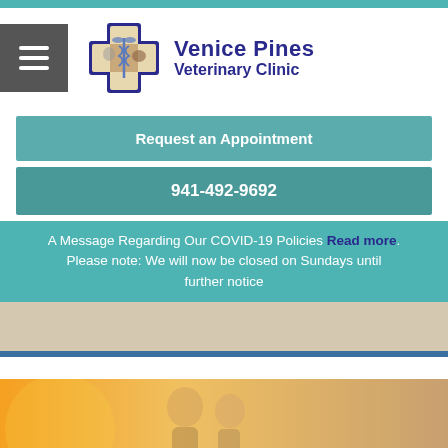[Figure (logo): Venice Pines Veterinary Clinic logo with blue cross and pets]
Venice Pines Veterinary Clinic
Request an Appointment
941-492-9692
A Message Regarding Our COVID-19 Policies Read more. Please note: We will now be closed on Sundays until further notice
[Figure (photo): Sandy/textured background section with blue stripe]
[Figure (photo): Couple outdoors smiling at sunset]